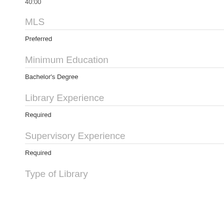40:00
MLS
Preferred
Minimum Education
Bachelor's Degree
Library Experience
Required
Supervisory Experience
Required
Type of Library